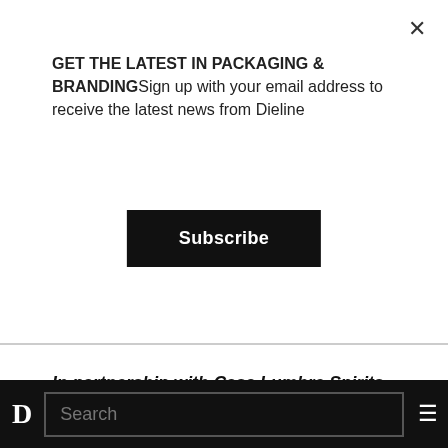GET THE LATEST IN PACKAGING & BRANDINGSign up with your email address to receive the latest news from Dieline
Subscribe
In partnership with Casa Lumbre Spirits, WeHolden was tasked to design packaging that pays tribute to corn as the foundational element in the cultural identity of Mexico. The design needed to convey the culinary aspects of the product, stand out on crowded back bars, and appeal to bartenders, spirits nerds, and travelers
D  Search  ≡